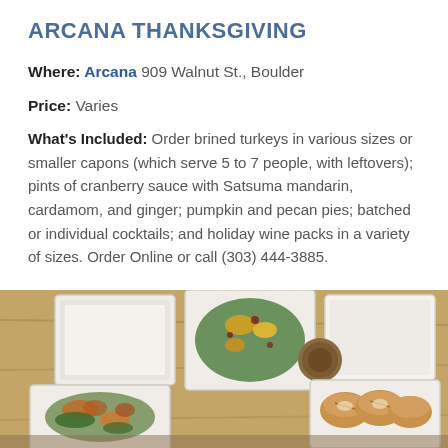ARCANA THANKSGIVING
Where: Arcana 909 Walnut St., Boulder
Price: Varies
What's Included: Order brined turkeys in various sizes or smaller capons (which serve 5 to 7 people, with leftovers); pints of cranberry sauce with Satsuma mandarin, cardamom, and ginger; pumpkin and pecan pies; batched or individual cocktails; and holiday wine packs in a variety of sizes. Order Online or call (303) 444-3885.
[Figure (photo): Overhead photo of multiple open takeout containers filled with Thanksgiving food items including salads, roasted vegetables, and sliced bread rolls on a wooden surface]